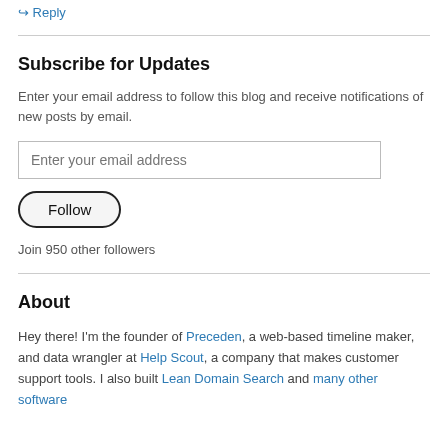↪ Reply
Subscribe for Updates
Enter your email address to follow this blog and receive notifications of new posts by email.
Enter your email address
Follow
Join 950 other followers
About
Hey there! I'm the founder of Preceden, a web-based timeline maker, and data wrangler at Help Scout, a company that makes customer support tools. I also built Lean Domain Search and many other software